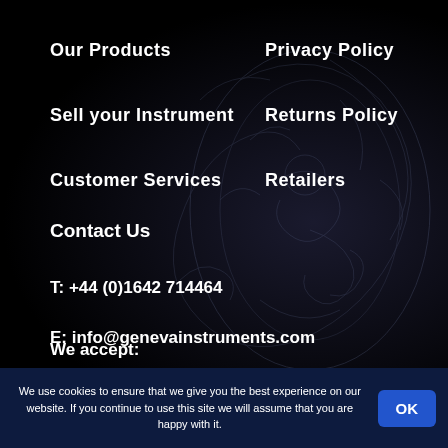Our Products
Privacy Policy
Sell your Instrument
Returns Policy
Customer Services
Retailers
Contact Us
T: +44 (0)1642 714464
E: info@genevainstruments.com
We accept:
We use cookies to ensure that we give you the best experience on our website. If you continue to use this site we will assume that you are happy with it.